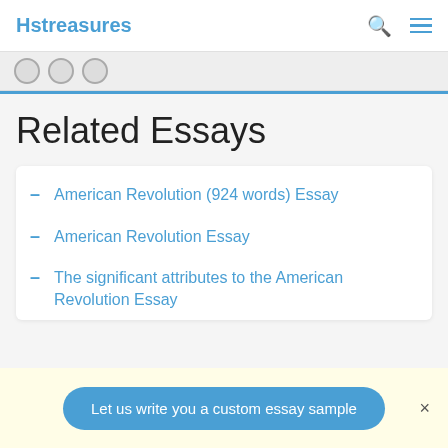Hstreasures
Related Essays
American Revolution (924 words) Essay
American Revolution Essay
The significant attributes to the American Revolution Essay
Let us write you a custom essay sample